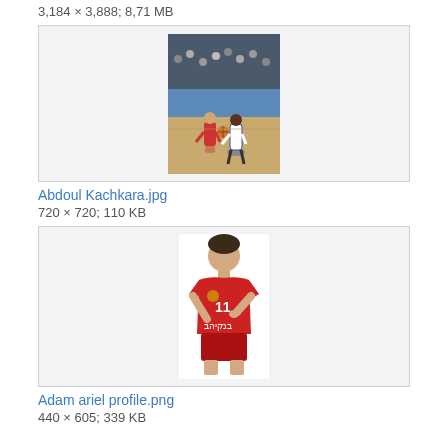3,184 × 3,888; 8.71 MB
[Figure (photo): Basketball game photo showing two players, one in red uniform and one in blue/white uniform, competing on a basketball court with audience in background]
Abdoul Kachkara.jpg
720 × 720; 110 KB
[Figure (photo): Profile photo of a young male basketball player wearing a red jersey with Hebrew text and number 11, pointing to the team logo]
Adam ariel profile.png
440 × 605; 339 KB